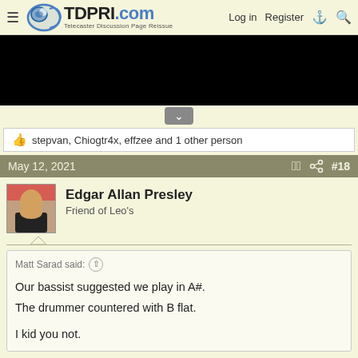TDPRI.com — Telecaster Discussion Page Reissue | Log in | Register
[Figure (photo): Black rectangle representing a video or image embed]
stepvan, Chiogtr4x, effzee and 1 other person
May 12, 2021 #18
Edgar Allan Presley
Friend of Leo's
Matt Sarad said:

Our bassist suggested we play in A#.
The drummer countered with B flat.

I kid you not.